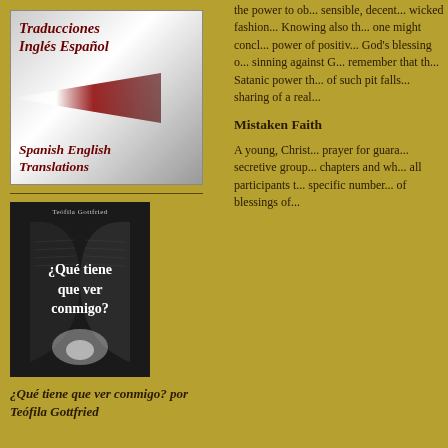[Figure (illustration): Translation services banner with gradient background showing 'Traducciones Inglés Español' and 'Spanish English Translations' in dark red bold italic text with a triangular light beam graphic in the center]
[Figure (photo): Book cover photo in black and white showing an open Bible with text '¿Qué tiene que ver conmigo?' by Teófila Gottfried, with a glowing light effect at bottom]
¿Qué tiene que ver conmigo? por Teófila Gottfried
the power to ob... sensible, decent... wicked fashion... Knowing also th... one might concl... power of positiv... God's blessing o... sinning against G... remember that th... Satanic power th... of such pit falls... sharing of a real...
Mistaken Faith
A young, Christ... prayer for guara... secretive group... chapters and wh... all participants t... specific number... of blessings of...